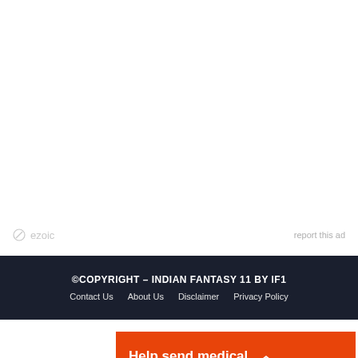ezoic   report this ad
©COPYRIGHT – INDIAN FANTASY 11 BY IF1
Contact Us   About Us   Disclaimer   Privacy Policy
[Figure (infographic): Orange Direct Relief ad banner: 'Help send medical aid to Ukraine >>' with Direct Relief logo]